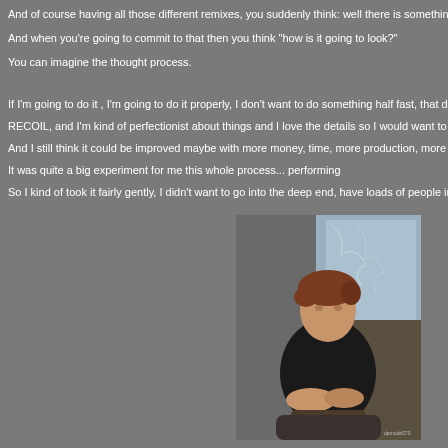And of course having all those different remixes, you suddenly think: well there is something we ca
And when you're going to commit to that then you think "how is it going to look?"
You can imagine the thought process.
If I'm going to do it , I'm going to do it properly, I don't want to do something half fast, that doesn't re
RECOIL, and I'm kind of perfectionist about things and I love the details so I would want to do it as
And I still think it could be improved maybe with more money, time, more production, more people
It was quite a big experiment for me this whole process... performing
So I kind of took it fairly gently, I didn't want to go into the deep end, have loads of people in the roa
[Figure (photo): A man with reddish-brown hair wearing a dark shirt, seated and resting his hands, photographed against a blue-grey background. Watermark 'dpmode570' visible in bottom right corner.]